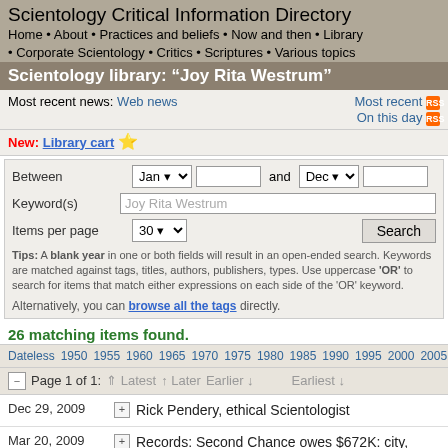Scientology Critical Information Directory
Home • About • Practices and beliefs • Now and then • Library • Corporate Scientology • Critics • Scriptures • Various topics
Scientology library: "Joy Rita Westrum"
Most recent news: Web news | Most recent | On this day
New: Library cart ★
Between Jan and Dec | Keyword(s): Joy Rita Westrum | Items per page: 30 | Search
Tips: A blank year in one or both fields will result in an open-ended search. Keywords are matched against tags, titles, authors, publishers, types. Use uppercase 'OR' to search for items that match either expressions on each side of the 'OR' keyword.
Alternatively, you can browse all the tags directly.
26 matching items found.
Dateless 1950 1955 1960 1965 1970 1975 1980 1985 1990 1995 2000 2005 2010
Page 1 of 1: ⇑ Latest ↑ Later Earlier ↓ Earliest ↓
Dec 29, 2009 — Rick Pendery, ethical Scientologist
Mar 20, 2009 — Records: Second Chance owes $672K: city, state, IRS among unpaid — Albuquerque Journal | More: forums.whyweprotest.net
Feb 4, 2009 — ABQ officials tour former rehab facility — KOB (New Mexico) | More: youtube.com